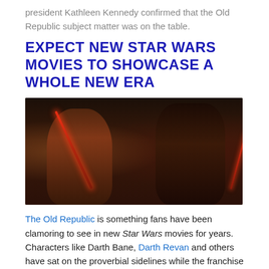president Kathleen Kennedy confirmed that the Old Republic subject matter was on the table.
EXPECT NEW STAR WARS MOVIES TO SHOWCASE A WHOLE NEW ERA
[Figure (illustration): Dark fantasy artwork of two Sith-like figures in dark robes, each wielding red lightsabers, standing in a dimly lit spacecraft interior. The figure on the left is shorter and bald, holding a red lightsaber pointed downward. The taller figure on the right wears a hooded mask and armor, with a second red lightsaber visible on the right side.]
The Old Republic is something fans have been clamoring to see in new Star Wars movies for years. Characters like Darth Bane, Darth Revan and others have sat on the proverbial sidelines while the franchise